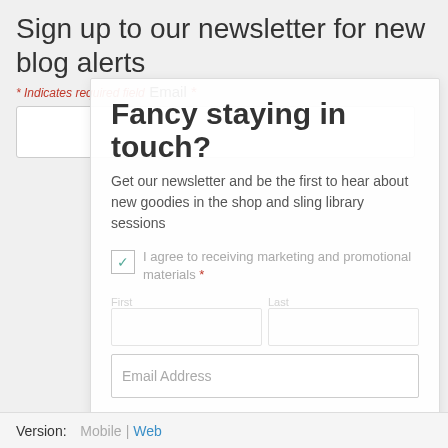Sign up to our newsletter for new blog alerts
* Indicates required field
Email *
[Figure (screenshot): Email input box (empty)]
Fancy staying in touch?
Get our newsletter and be the first to hear about new goodies in the shop and sling library sessions
I agree to receiving marketing and promotional materials *
Email Address
SUBSCRIBE TO NEWSLETTER
Subscribe
No Thanks!
Copyright © 2015
Version:  Mobile | Web